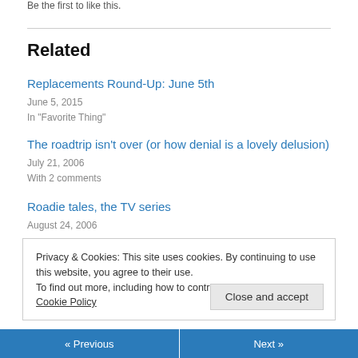Be the first to like this.
Related
Replacements Round-Up: June 5th
June 5, 2015
In "Favorite Thing"
The roadtrip isn't over (or how denial is a lovely delusion)
July 21, 2006
With 2 comments
Roadie tales, the TV series
August 24, 2006
Privacy & Cookies: This site uses cookies. By continuing to use this website, you agree to their use.
To find out more, including how to control cookies, see here: Cookie Policy
Close and accept
« Previous   Next »